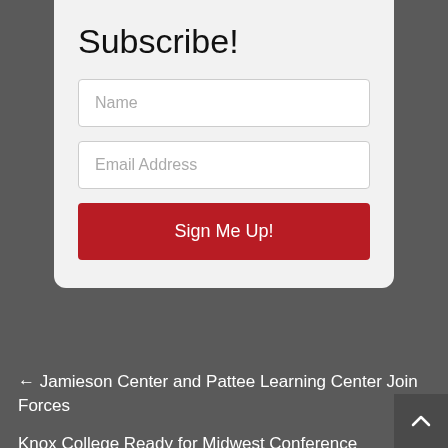Subscribe!
Name
Email Address
Sign Me Up!
← Jamieson Center and Pattee Learning Center Join Forces
Knox College Ready for Midwest Conference Women's Basketball Tournament →